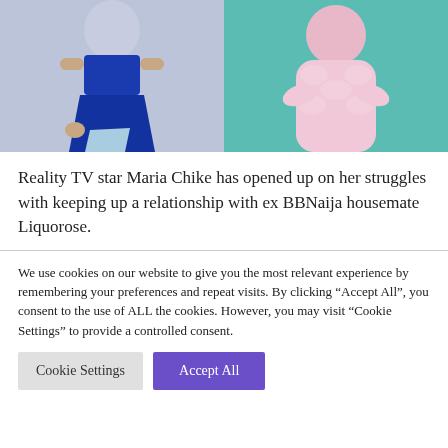[Figure (photo): Two photos side by side: left shows a woman in a blue sequined dress holding a light blue bag against a light blue-grey background; right shows a person in a pink fluffy coat against a teal background.]
Reality TV star Maria Chike has opened up on her struggles with keeping up a relationship with ex BBNaija housemate Liquorose.
We use cookies on our website to give you the most relevant experience by remembering your preferences and repeat visits. By clicking "Accept All", you consent to the use of ALL the cookies. However, you may visit "Cookie Settings" to provide a controlled consent.